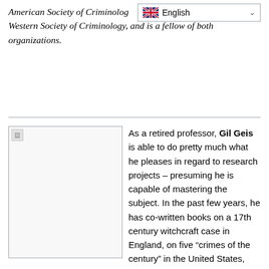American Society of Criminology, Western Society of Criminology, and is a fellow of both organizations.
[Figure (photo): Broken image placeholder (thumbnail of Gil Geis)]
As a retired professor, Gil Geis is able to do pretty much what he pleases in regard to research projects – presuming he is capable of mastering the subject. In the past few years, he has co-written books on a 17th century witchcraft case in England, on five “crimes of the century” in the United States, and on the fertility clinic scandal at UCI, and edited, with Mary Dodge, a collection of essays by leading figures in criminology on their advice for newcomers. In the same period, he also co-authored a